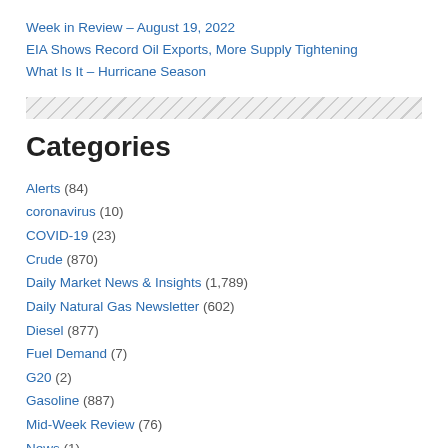Week in Review – August 19, 2022
EIA Shows Record Oil Exports, More Supply Tightening
What Is It – Hurricane Season
Categories
Alerts (84)
coronavirus (10)
COVID-19 (23)
Crude (870)
Daily Market News & Insights (1,789)
Daily Natural Gas Newsletter (602)
Diesel (877)
Fuel Demand (7)
G20 (2)
Gasoline (887)
Mid-Week Review (76)
News (1)
Pandemic (7)
Refinery Utilization (2)